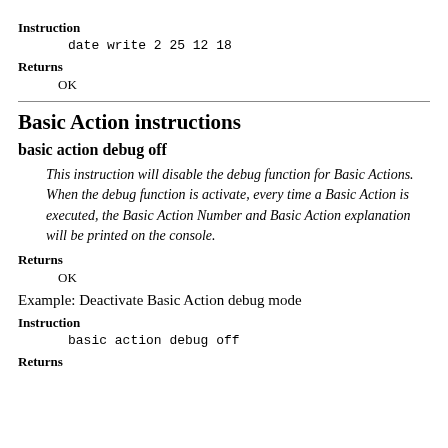Instruction
date write 2 25 12 18
Returns
OK
Basic Action instructions
basic action debug off
This instruction will disable the debug function for Basic Actions. When the debug function is activate, every time a Basic Action is executed, the Basic Action Number and Basic Action explanation will be printed on the console.
Returns
OK
Example: Deactivate Basic Action debug mode
Instruction
basic action debug off
Returns